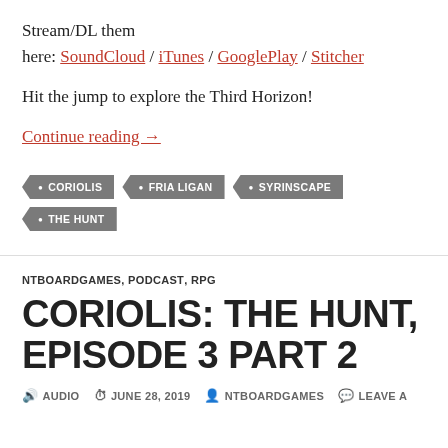Stream/DL them here: SoundCloud / iTunes / GooglePlay / Stitcher
Hit the jump to explore the Third Horizon!
Continue reading →
CORIOLIS
FRIA LIGAN
SYRINSCAPE
THE HUNT
NTBOARDGAMES, PODCAST, RPG
CORIOLIS: THE HUNT, EPISODE 3 PART 2
AUDIO   JUNE 28, 2019   NTBOARDGAMES   LEAVE A